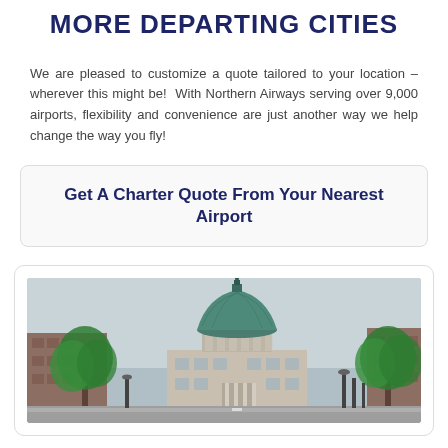MORE DEPARTING CITIES
We are pleased to customize a quote tailored to your location – wherever this might be!  With Northern Airways serving over 9,000 airports, flexibility and convenience are just another way we help change the way you fly!
Get A Charter Quote From Your Nearest Airport
[Figure (photo): Street-level photograph of a city with a large green copper dome building (capitol-style) framed by trees, with brick buildings on either side under an overcast sky.]